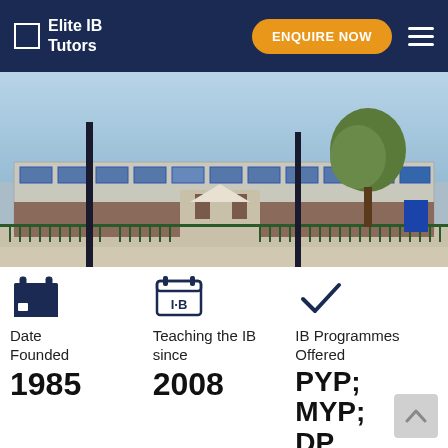Elite IB Tutors — ENQUIRE NOW
[Figure (photo): Street-level photo of a school building with blue-framed windows, brick lower facade, metal fence with green railings, lamp posts, and a tree in the foreground. Clear blue sky.]
Date Founded
1985
Teaching the IB since
2008
IB Programmes Offered
PYP; MYP; DP